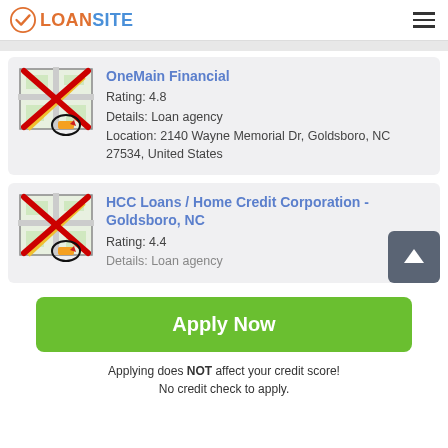LOANSITE
OneMain Financial
Rating: 4.8
Details: Loan agency
Location: 2140 Wayne Memorial Dr, Goldsboro, NC 27534, United States
HCC Loans / Home Credit Corporation - Goldsboro, NC
Rating: 4.4
Details: Loan agency
Apply Now
Applying does NOT affect your credit score!
No credit check to apply.